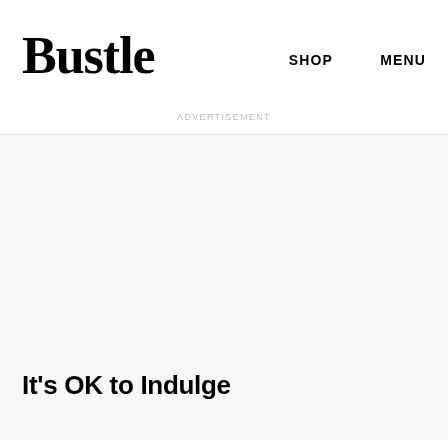desperately been waiting for.
Bustle   SHOP   MENU
ADVERTISEMENT
[Figure (other): Advertisement placeholder area with light gray background]
It's OK to Indulge